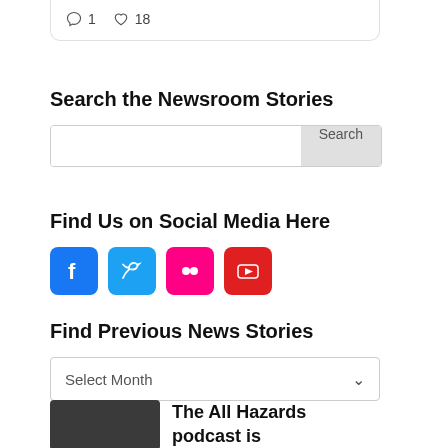[Figure (screenshot): Card with comment icon showing 1 and heart icon showing 18]
Search the Newsroom Stories
[Figure (screenshot): Search input box with Search button]
Find Us on Social Media Here
[Figure (screenshot): Social media icons: Facebook, Twitter, Flickr, YouTube]
Find Previous News Stories
[Figure (screenshot): Dropdown selector showing Select Month]
[Figure (photo): Headshot of a man in dark background next to text]
The All Hazards podcast is